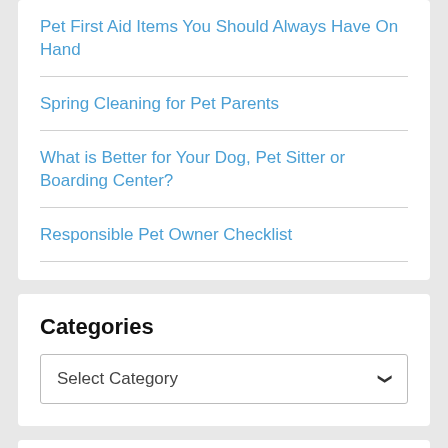Pet First Aid Items You Should Always Have On Hand
Spring Cleaning for Pet Parents
What is Better for Your Dog, Pet Sitter or Boarding Center?
Responsible Pet Owner Checklist
Categories
Select Category